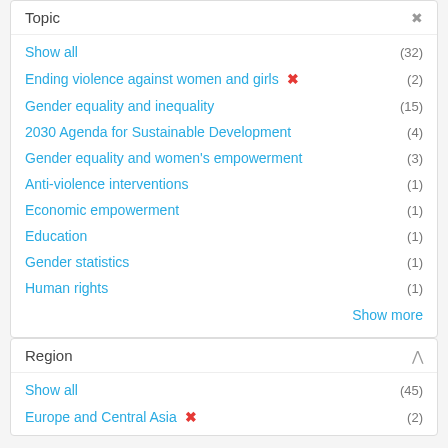Topic
Show all (32)
Ending violence against women and girls ✕ (2)
Gender equality and inequality (15)
2030 Agenda for Sustainable Development (4)
Gender equality and women's empowerment (3)
Anti-violence interventions (1)
Economic empowerment (1)
Education (1)
Gender statistics (1)
Human rights (1)
Show more
Region
Show all (45)
Europe and Central Asia ✕ (2)